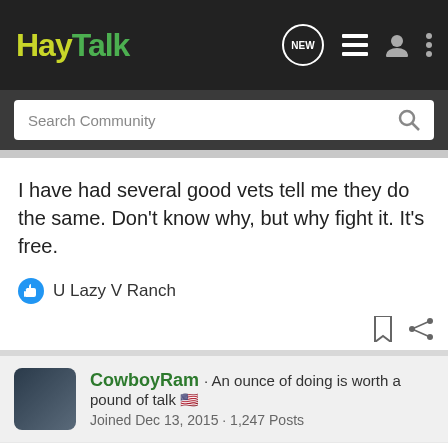HayTalk
Search Community
I have had several good vets tell me they do the same. Don't know why, but why fight it. It's free.
U Lazy V Ranch
CowboyRam · An ounce of doing is worth a pound of talk 🇺🇸
Joined Dec 13, 2015 · 1,247 Posts
#27 · Nov 2, 2020
Edd in ...
I am su... the "moon... 20
[Figure (screenshot): GroundOS advertisement banner: 'BUILT BY LAND BROKERS FOR LAND BROKERS CLICK TO LEARN MORE' with landscape background]